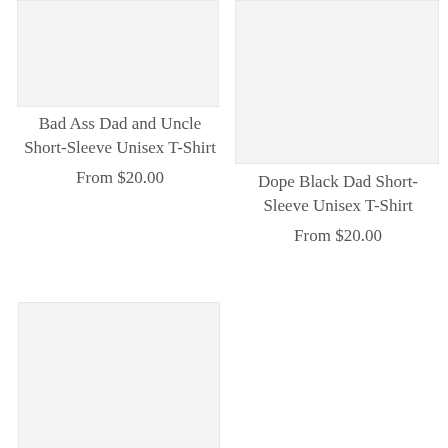[Figure (photo): Product image placeholder for Bad Ass Dad and Uncle Short-Sleeve Unisex T-Shirt, light gray background]
Bad Ass Dad and Uncle Short-Sleeve Unisex T-Shirt
From $20.00
[Figure (photo): Product image placeholder for Dope Black Dad Short-Sleeve Unisex T-Shirt, light gray background]
Dope Black Dad Short-Sleeve Unisex T-Shirt
From $20.00
[Figure (photo): Product image placeholder, light gray background, bottom-left position]